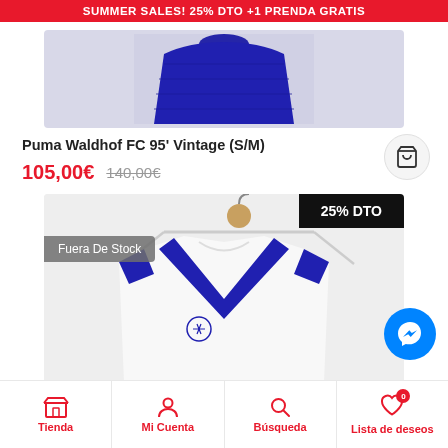SUMMER SALES! 25% DTO +1 PRENDA GRATIS
[Figure (photo): Top portion of a blue patterned football shirt on a light grey background]
Puma Waldhof FC 95' Vintage (S/M)
105,00€  140,00€
[Figure (photo): White and blue Adidas vintage football shirt on a hanger with '25% DTO' badge and 'Fuera De Stock' overlay]
Tienda  Mi Cuenta  Búsqueda  Lista de deseos